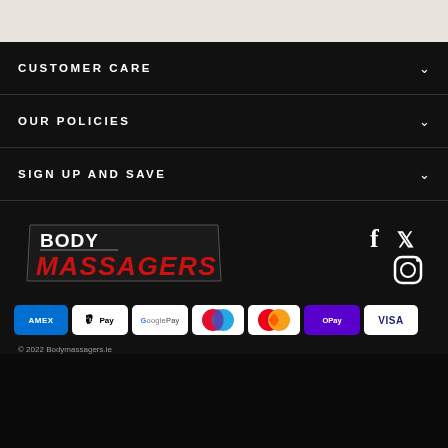CUSTOMER CARE
OUR POLICIES
SIGN UP AND SAVE
[Figure (logo): Body Massagers logo with white 'BODY' text and red stylized 'MASSAGERS' text on dark background with parallelogram shape]
[Figure (other): Social media icons: Facebook, Twitter, Instagram]
[Figure (other): Payment method badges: AMEX, Apple Pay, Google Pay, Maestro, Mastercard, OPay, Visa]
© 2022 Bodymassagers.ie